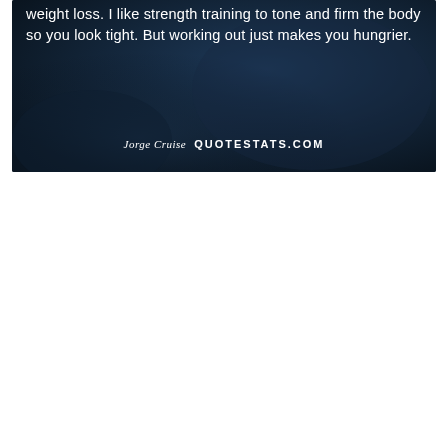[Figure (photo): Dark blue-toned background image with a quote overlay. The image shows a dimly lit scene with text superimposed. Quote reads: 'weight loss. I like strength training to tone and firm the body so you look tight. But working out just makes you hungrier.' Attribution: Jorge Cruise   QUOTESTATS.COM]